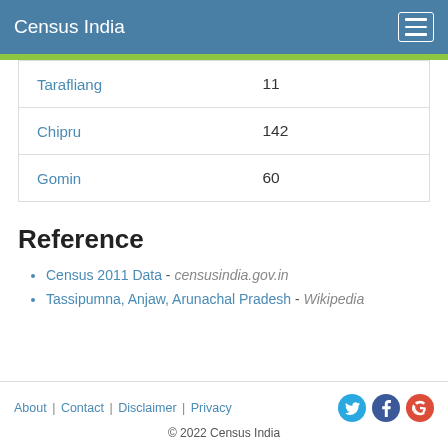Census India
| Tarafliang | 11 |
| Chipru | 142 |
| Gomin | 60 |
Reference
Census 2011 Data - censusindia.gov.in
Tassipumna, Anjaw, Arunachal Pradesh - Wikipedia
About | Contact | Disclaimer | Privacy   © 2022 Census India